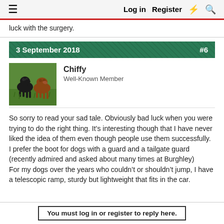≡  Log in  Register  ⚡  🔍
luck with the surgery.
3 September 2018  #6
[Figure (photo): Avatar photo of two dogs on green grass]
Chiffy
Well-Known Member
So sorry to read your sad tale. Obviously bad luck when you were trying to do the right thing. It&#8217;s interesting though that I have never liked the idea of them even though people use them successfully.
I prefer the boot for dogs with a guard and a tailgate guard (recently admired and asked about many times at Burghley)
For my dogs over the years who couldn&#8217;t or shouldn&#8217;t jump, I have a telescopic ramp, sturdy but lightweight that fits in the car.
You must log in or register to reply here.